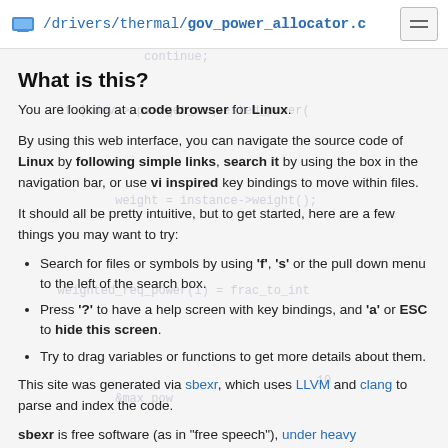/drivers/thermal/gov_power_allocator.c
What is this?
You are looking at a code browser for Linux.
By using this web interface, you can navigate the source code of Linux by following simple links, search it by using the box in the navigation bar, or use vi inspired key bindings to move within files.
It should all be pretty intuitive, but to get started, here are a few things you may want to try:
Search for files or symbols by using 'f', 's' or the pull down menu to the left of the search box.
Press '?' to have a help screen with key bindings, and 'a' or ESC to hide this screen.
Try to drag variables or functions to get more details about them.
This site was generated via sbexr, which uses LLVM and clang to parse and index the code.
sbexr is free software (as in "free speech"), under heavy development, sbexr.sbexr.org and the Linux kernel source code...